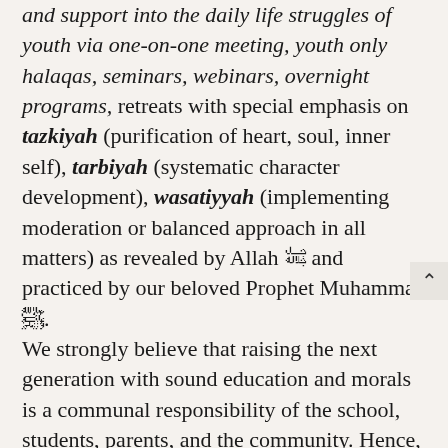and support into the daily life struggles of youth via one-on-one meeting, youth only halaqas, seminars, webinars, overnight programs, retreats with special emphasis on tazkiyah (purification of heart, soul, inner self), tarbiyah (systematic character development), wasatiyyah (implementing moderation or balanced approach in all matters) as revealed by Allah ﷻ and practiced by our beloved Prophet Muhammad ﷺ. We strongly believe that raising the next generation with sound education and morals is a communal responsibility of the school, students, parents, and the community. Hence, Hidayah team will make every effort that the students are provided the best of moral values, personal integrity and ethical conduct which